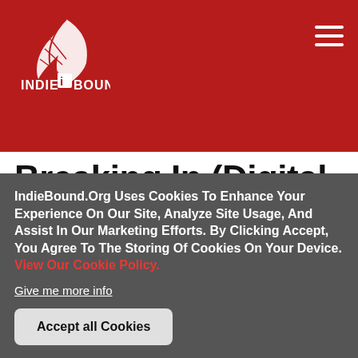IndieBound
Breaking In (Digital Audiobook)
The Rise of Sonia Sotomayor and the Politics of Justice
By Joan Biskupic, Carrington MacDuffie (Narrator)
IndieBound.Org Uses Cookies To Enhance Your Experience On Our Site, Analyze Site Usage, And Assist In Our Marketing Efforts. By Clicking Accept, You Agree To The Storing Of Cookies On Your Device. View Our Cookie Policy.
Give me more info
Accept all Cookies